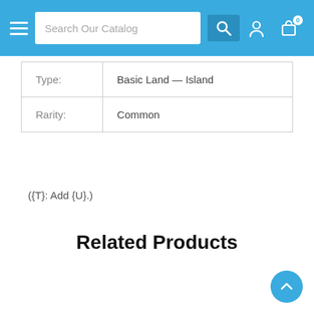Search Our Catalog
| Type: | Basic Land — Island |
| Rarity: | Common |
({T}: Add {U}.)
Related Products
[Figure (illustration): Magic: The Gathering card 'Drown in the Loch' showing a figure drowning in dark water]